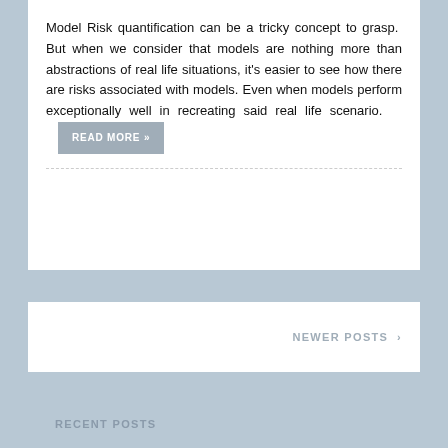Model Risk quantification can be a tricky concept to grasp. But when we consider that models are nothing more than abstractions of real life situations, it's easier to see how there are risks associated with models. Even when models perform exceptionally well in recreating said real life scenario.
READ MORE »
NEWER POSTS ›
RECENT POSTS